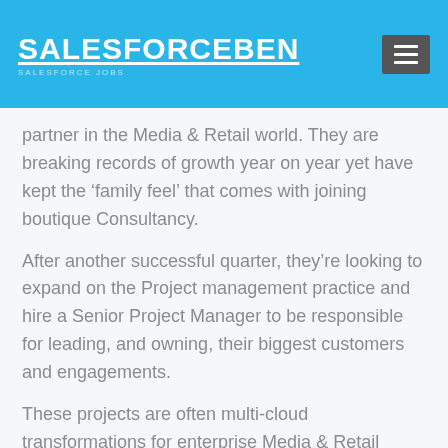SALESFORCEBEN
partner in the Media & Retail world. They are breaking records of growth year on year yet have kept the ‘family feel’ that comes with joining boutique Consultancy.
After another successful quarter, they’re looking to expand on the Project management practice and hire a Senior Project Manager to be responsible for leading, and owning, their biggest customers and engagements.
These projects are often multi-cloud transformations for enterprise Media & Retail companies, that are either implementing or transforming Salesforce on a global scale.